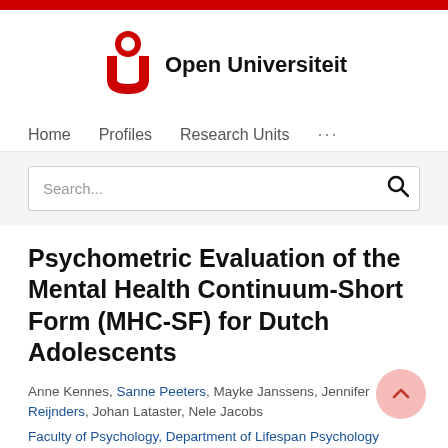[Figure (logo): Open Universiteit logo with red circular icon and black text]
Home   Profiles   Research Units   ...
Search...
Psychometric Evaluation of the Mental Health Continuum-Short Form (MHC-SF) for Dutch Adolescents
Anne Kennes, Sanne Peeters, Mayke Janssens, Jennifer Reijnders, Johan Lataster, Nele Jacobs
Faculty of Psychology, Department of Lifespan Psychology